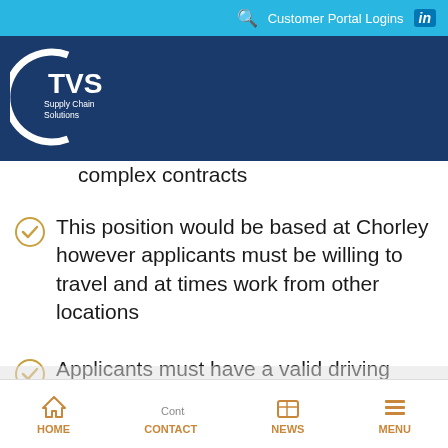Customer Portal Logins
[Figure (logo): TVS Supply Chain Solutions logo — white circle arc with TVS text and 'Supply Chain Solutions' subtitle on dark blue background]
complex contracts
This position would be based at Chorley however applicants must be willing to travel and at times work from other locations
Applicants must have a valid driving license
HOME  CONTACT  NEWS  MENU